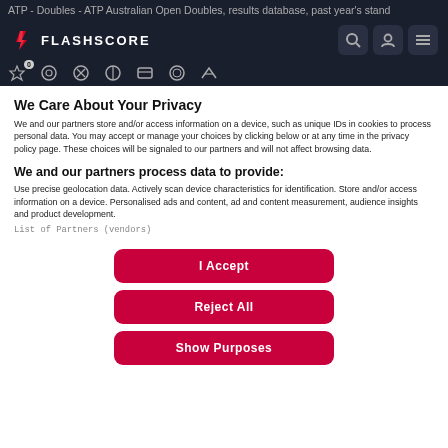ATP - Doubles - ATP Australian Open Doubles, results database, past year's stand
[Figure (logo): Flashscore logo with navigation icons (search, user, menu) on dark background]
We Care About Your Privacy
We and our partners store and/or access information on a device, such as unique IDs in cookies to process personal data. You may accept or manage your choices by clicking below or at any time in the privacy policy page. These choices will be signaled to our partners and will not affect browsing data.
We and our partners process data to provide:
Use precise geolocation data. Actively scan device characteristics for identification. Store and/or access information on a device. Personalised ads and content, ad and content measurement, audience insights and product development.
List of Partners (vendors)
I Accept
Reject All
Show Purposes